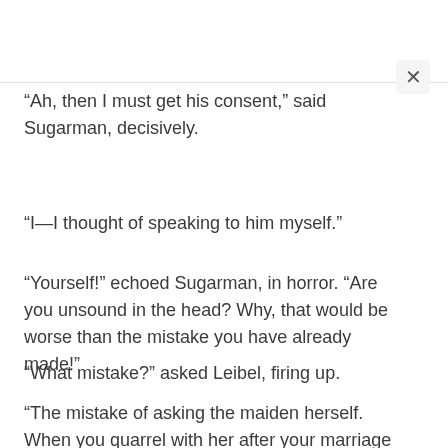“Ah, then I must get his consent,” said Sugarman, decisively.
“I—I thought of speaking to him myself.”
“Yourself!” echoed Sugarman, in horror. “Are you unsound in the head? Why, that would be worse than the mistake you have already made!”
“What mistake?” asked Leibel, firing up.
“The mistake of asking the maiden herself. When you quarrel with her after your marriage she will always